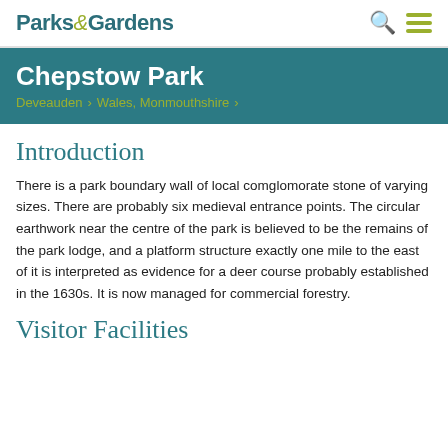Parks & Gardens
Chepstow Park
Deveauden > Wales, Monmouthshire >
Introduction
There is a park boundary wall of local comglomorate stone of varying sizes. There are probably six medieval entrance points. The circular earthwork near the centre of the park is believed to be the remains of the park lodge, and a platform structure exactly one mile to the east of it is interpreted as evidence for a deer course probably established in the 1630s. It is now managed for commercial forestry.
Visitor Facilities